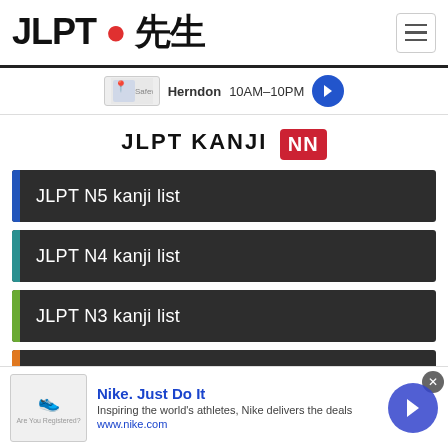JLPT 先生
[Figure (screenshot): Advertisement banner showing a Safeway map icon with Herndon 10AM-10PM location and a blue arrow circle]
JLPT KANJI
JLPT N5 kanji list
JLPT N4 kanji list
JLPT N3 kanji list
JLPT N2 kanji list
[Figure (screenshot): Nike advertisement: Nike. Just Do It - Inspiring the world's athletes, Nike delivers the deals - www.nike.com]